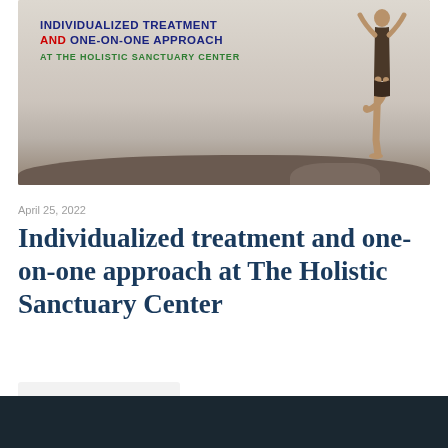[Figure (photo): A person doing a yoga tree pose standing on rocks near water, with overlay text reading 'INDIVIDUALIZED TREATMENT AND ONE-ON-ONE APPROACH AT THE HOLISTIC SANCTUARY CENTER']
April 25, 2022
Individualized treatment and one-on-one approach at The Holistic Sanctuary Center
Read more